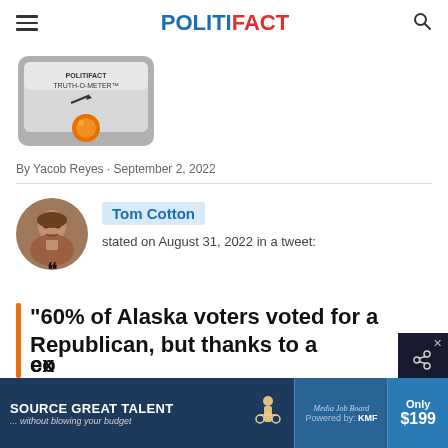POLITIFACT
[Figure (illustration): PolitiFact Truth-O-Meter image showing a meter with an orange indicator dot]
By Yacob Reyes · September 2, 2022
[Figure (photo): Circular profile photo of Tom Cotton]
Tom Cotton stated on August 31, 2022 in a tweet:
“60% of Alaska voters voted for a Republican, but thanks to a co... ex...
[Figure (other): Advertisement banner: Source Great Talent ... without blowing your budget. Media Job Board by KMF. Only $199.]